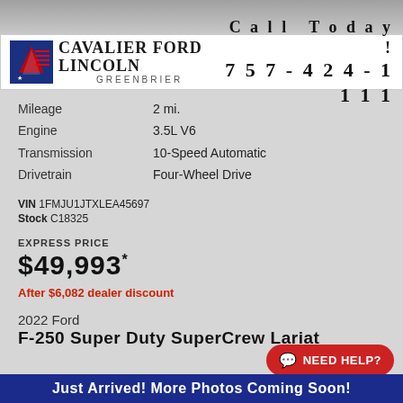[Figure (photo): Partial vehicle photo strip at top of page]
[Figure (logo): Cavalier Ford Lincoln Greenbrier dealership logo with American flag star icon, Call Today! 757-424-1111]
Mileage 2 mi.
Engine 3.5L V6
Transmission 10-Speed Automatic
Drivetrain Four-Wheel Drive
VIN 1FMJU1JTXLEA45697
Stock C18325
EXPRESS PRICE
$49,993*
After $6,082 dealer discount
2022 Ford
F-250 Super Duty SuperCrew Lariat
Just Arrived! More Photos Coming Soon!